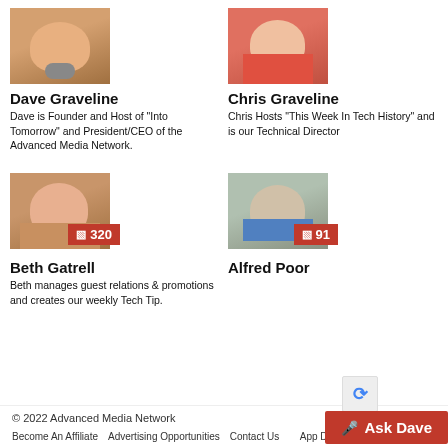[Figure (photo): Photo of Dave Graveline (man with headset microphone)]
Dave Graveline
Dave is Founder and Host of "Into Tomorrow" and President/CEO of the Advanced Media Network.
[Figure (photo): Photo of Chris Graveline (young man in red shirt)]
Chris Graveline
Chris Hosts "This Week In Tech History" and is our Technical Director
[Figure (photo): Photo of Beth Gatrell (woman smiling) with badge showing 320]
Beth Gatrell
Beth manages guest relations & promotions and creates our weekly Tech Tip.
[Figure (photo): Photo of Alfred Poor (older man smiling) with badge showing 91]
Alfred Poor
© 2022 Advanced Media Network
Become An Affiliate
Advertising Opportunities
Contact Us
App Development Di...